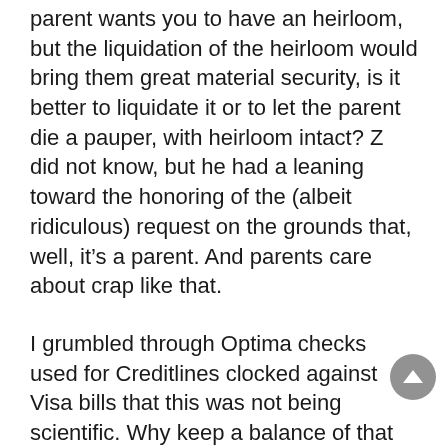parent wants you to have an heirloom, but the liquidation of the heirloom would bring them great material security, is it better to liquidate it or to let the parent die a pauper, with heirloom intact? Z did not know, but he had a leaning toward the honoring of the (albeit ridiculous) request on the grounds that, well, it’s a parent. And parents care about crap like that.
I grumbled through Optima checks used for Creditlines clocked against Visa bills that this was not being scientific. Why keep a balance of that magnitude aloft at that altitude when we could just put the